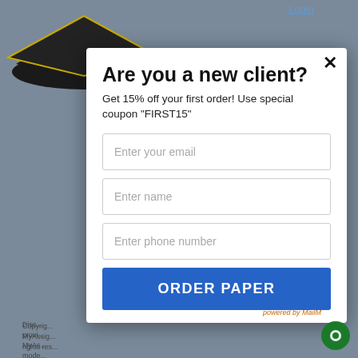[Figure (screenshot): Graduation cap image in the top-left corner of the background]
Login
Are you a new client?
Get 15% off your first order! Use special coupon "FIRST15"
Enter your email
Enter name
Enter phone number
ORDER PAPER
Disc... provi... MyAs... mode... are n... These... used f... purpos...
Copyrig... MyAssig... rights res...
powered by MailM